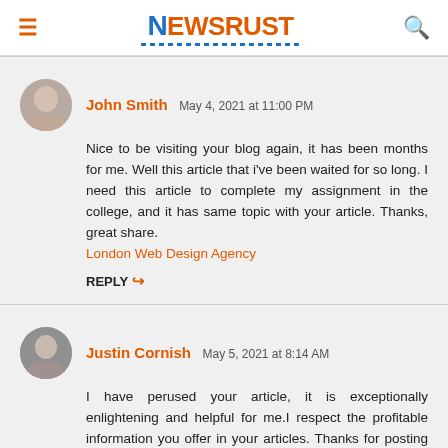NEWSRUST
John Smith  May 4, 2021 at 11:00 PM
Nice to be visiting your blog again, it has been months for me. Well this article that i've been waited for so long. I need this article to complete my assignment in the college, and it has same topic with your article. Thanks, great share. London Web Design Agency
REPLY
Justin Cornish  May 5, 2021 at 8:14 AM
I have perused your article, it is exceptionally enlightening and helpful for me.I respect the profitable information you offer in your articles. Thanks for posting it. 🔶🔶🔶🔶🔶🔶
REPLY